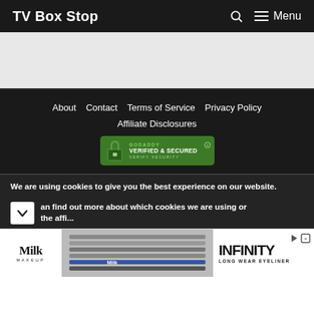TV Box Stop
[Figure (other): White/grey advertisement placeholder space]
About   Contact   Terms of Service   Privacy Policy
Affiliate Disclosures
[Figure (logo): GoDaddy Verified & Secured badge with lock icon. Green background, text: GODADDY VERIFIED & SECURED VERIFY SECURITY]
We are using cookies to give you the best experience on our website.
an find out more about which cookies we are using or the affi...
[Figure (screenshot): Bottom advertisement banner: Milk Makeup brand logo on left, product image in center (eyeliner pencils), INFINITY LONG WEAR EYELINER text on right]